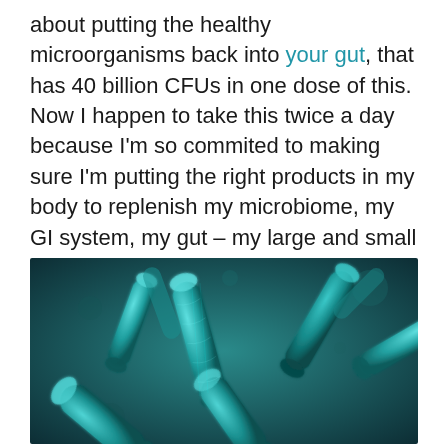about putting the healthy microorganisms back into your gut, that has 40 billion CFUs in one dose of this. Now I happen to take this twice a day because I'm so commited to making sure I'm putting the right products in my body to replenish my microbiome, my GI system, my gut – my large and small intestine. I want to make sure they are loaded with the right kind of bacteria.
[Figure (photo): Close-up microscopic 3D render of blue-green bacteria (cylindrical rod-shaped bacilli) against a teal/dark background, suggesting gut microbiome imagery.]